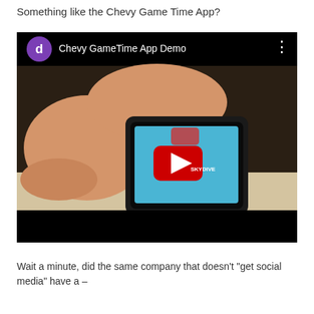Something like the Chevy Game Time App?
[Figure (screenshot): YouTube video thumbnail showing 'Chevy GameTime App Demo' with a purple avatar icon labeled 'd', and the video shows a hand holding a smartphone displaying a YouTube play button over an image with text 'SKYDIVE' on a blue background.]
Wait a minute, did the same company that doesn't "get social media" have a – no, wait, let me start over… But wait,